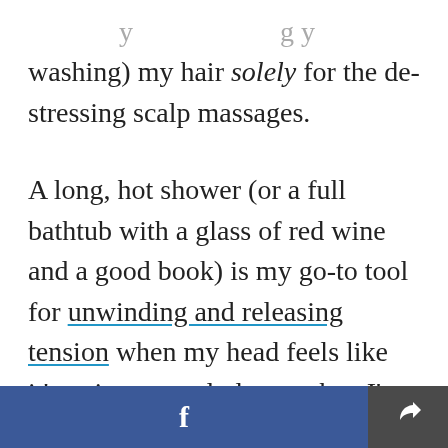washing) my hair solely for the de-stressing scalp massages.
A long, hot shower (or a full bathtub with a glass of red wine and a good book) is my go-to tool for unwinding and releasing tension when my head feels like it's going to explode, or when I'm on the brink of stress-induced tears. Adding a scalp massage to the mix guarantees I will walk out of the bathroom feeling like a much calmer woman without a headache.
f [Facebook share button] [Share button]